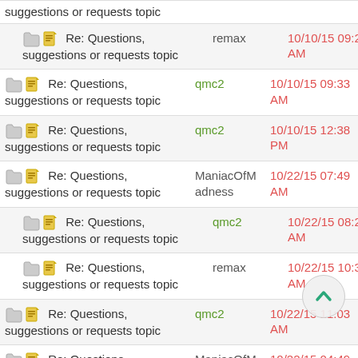Re: Questions, suggestions or requests topic | remax | 10/10/15 09:26 AM
Re: Questions, suggestions or requests topic | qmc2 | 10/10/15 09:33 AM
Re: Questions, suggestions or requests topic | qmc2 | 10/10/15 12:38 PM
Re: Questions, suggestions or requests topic | ManiacOfMadness | 10/22/15 07:49 AM
Re: Questions, suggestions or requests topic | qmc2 | 10/22/15 08:25 AM
Re: Questions, suggestions or requests topic | remax | 10/22/15 10:39 AM
Re: Questions, suggestions or requests topic | qmc2 | 10/22/15 11:03 AM
Re: Questions, suggestions or requests topic | ManiacOfMadness | 10/22/15 04:49 PM
Re: Questions, suggestions or requests topic | Stiletto | 10/22/15 08:16 PM